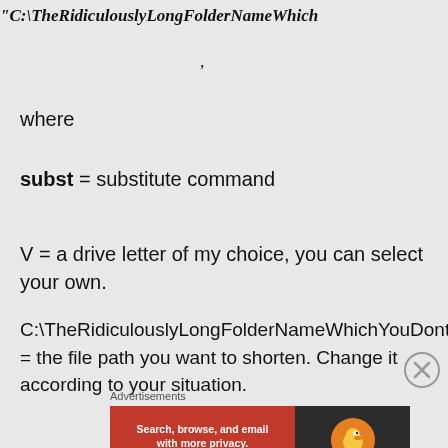"C:\TheRidiculouslyLongFolderNameWhich
,
where
subst = substitute command
V = a drive letter of my choice, you can select your own.
C:\TheRidiculouslyLongFolderNameWhichYouDontNeed = the file path you want to shorten. Change it according to your situation.
Advertisements